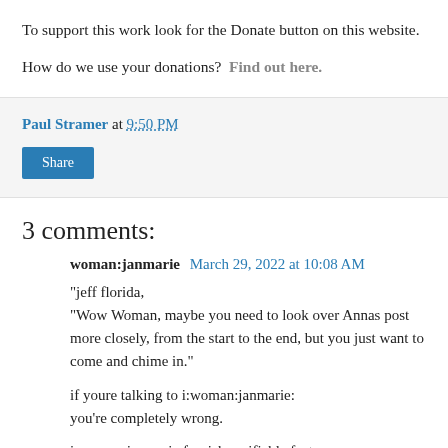To support this work look for the Donate button on this website.
How do we use your donations?  Find out here.
Paul Stramer at 9:50 PM
Share
3 comments:
woman:janmarie  March 29, 2022 at 10:08 AM
"jeff florida,
"Wow Woman, maybe you need to look over Annas post more closely, from the start to the end, but you just want to come and chime in."

if youre talking to i:woman:janmarie:
you're completely wrong.

i:woman:janmarie furnish verifiable facts